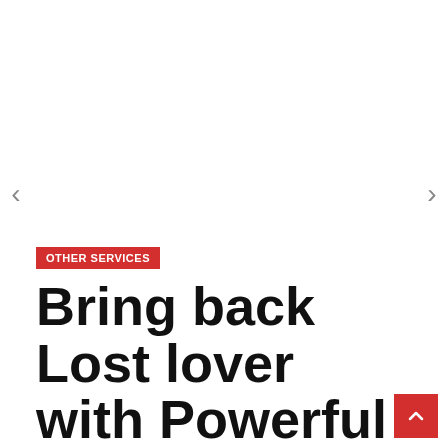OTHER SERVICES
Bring back Lost lover with Powerful lost love spells in Norway +27717486182 by